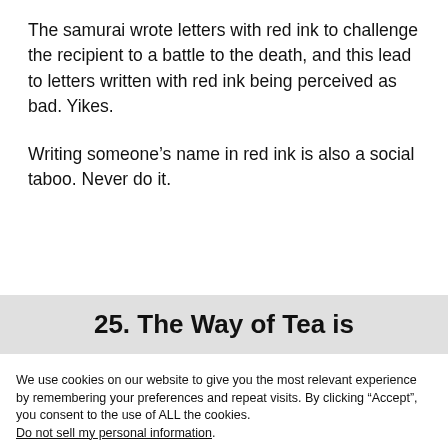The samurai wrote letters with red ink to challenge the recipient to a battle to the death, and this lead to letters written with red ink being perceived as bad. Yikes.
Writing someone’s name in red ink is also a social taboo. Never do it.
25. The Way of Tea is
We use cookies on our website to give you the most relevant experience by remembering your preferences and repeat visits. By clicking “Accept”, you consent to the use of ALL the cookies. Do not sell my personal information.
Cookie Settings | Accept